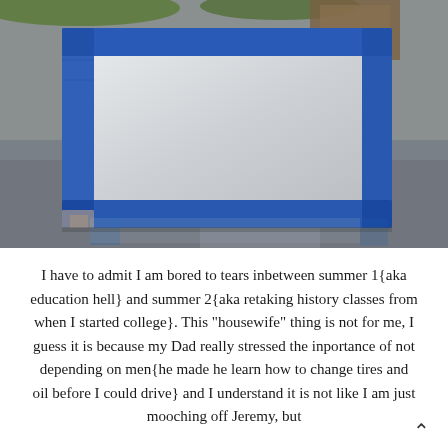[Figure (photo): A rectangular board or canvas with blue painter's tape along the edges forming a frame border, resting on a wet reflective surface outdoors. The center of the board is painted white/silver. Green grass and a door are visible in the background.]
I have to admit I am bored to tears inbetween summer 1{aka education hell} and summer 2{aka retaking history classes from when I started college}. This "housewife" thing is not for me, I guess it is because my Dad really stressed the inportance of not depending on men{he made he learn how to change tires and oil before I could drive} and I understand it is not like I am just mooching off Jeremy, but